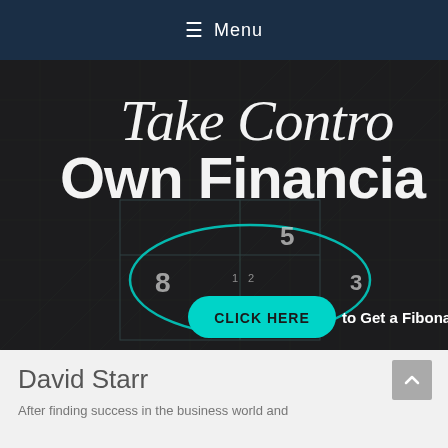≡ Menu
[Figure (illustration): Dark background banner image with grid/chart lines. Script text reads 'Take Contro' (truncated) and bold sans-serif text reads 'Own Financia' (truncated). Numbers 8, 5, 3 visible on a fibonacci grid with a teal ellipse. A teal pill-shaped button reads 'CLICK HERE' followed by 'to Get a Fibonac' (truncated).]
David Starr
After finding success in the business world and